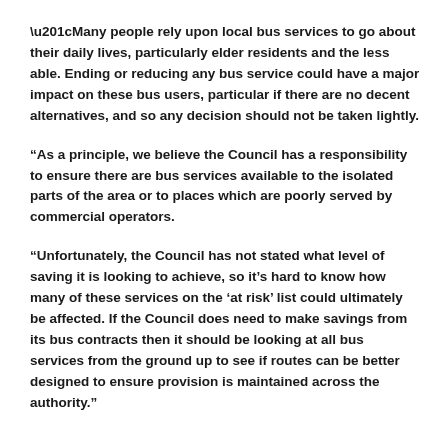“Many people rely upon local bus services to go about their daily lives, particularly elder residents and the less able.  Ending or reducing any bus service could have a major impact on these bus users, particular if there are no decent alternatives, and so any decision should not be taken lightly.
“As a principle, we believe the Council has a responsibility to ensure there are bus services available to the isolated parts of the area or to places which are poorly served by commercial operators.
“Unfortunately, the Council has not stated what level of saving it is looking to achieve, so it’s hard to know how many of these services on the ‘at risk’ list could ultimately be affected.  If the Council does need to make savings from its bus contracts then it should be looking at all bus services from the ground up to see if routes can be better designed to ensure provision is maintained across the authority.”